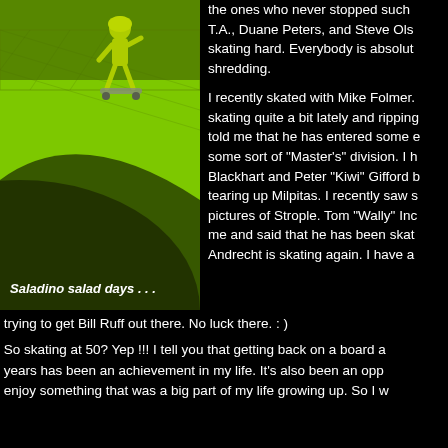[Figure (photo): Green-tinted action photo of a skateboarder (Saladino) at a skate ramp, with caption 'Saladino salad days ...' at the bottom left]
the ones who never stopped such T.A., Duane Peters, and Steve Ols skating hard. Everybody is absolut shredding.
I recently skated with Mike Folmer. skating quite a bit lately and ripping told me that he has entered some e some sort of "Master's" division. I h Blackhart and Peter "Kiwi" Gifford b tearing up Milpitas. I recently saw s pictures of Strople. Tom "Wally" Inc me and said that he has been skat Andrecht is skating again. I have a
trying to get Bill Ruff out there. No luck there. : )
So skating at 50? Yep !!! I tell you that getting back on a board a years has been an achievement in my life. It's also been an opp enjoy something that was a big part of my life growing up. So I w